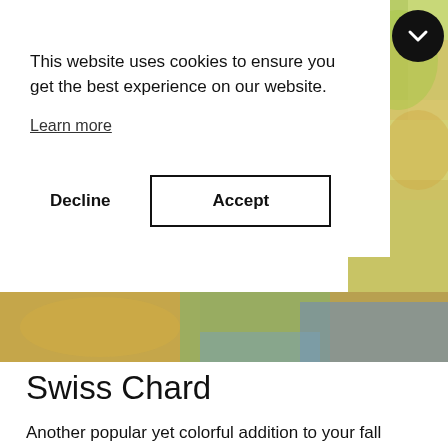This website uses cookies to ensure you get the best experience on our website.
Learn more
Decline
Accept
[Figure (photo): Outdoor garden photo partially visible on the right side of the page, showing green foliage and a person in a light blue shirt]
Swiss Chard
Another popular yet colorful addition to your fall garden is swiss chard. You can direct sow about 10 weeks before your average first frost